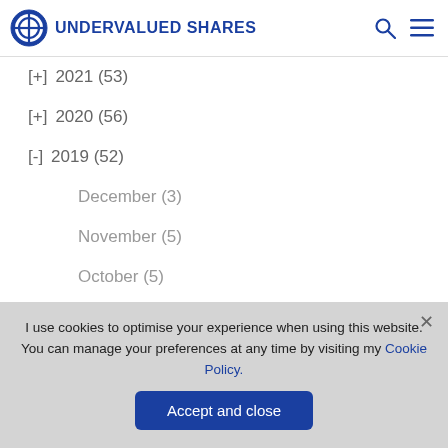UNDERVALUED SHARES
[+] 2021 (53)
[+] 2020 (56)
[-] 2019 (52)
December (3)
November (5)
October (5)
September (4)
August (5)
I use cookies to optimise your experience when using this website. You can manage your preferences at any time by visiting my Cookie Policy.